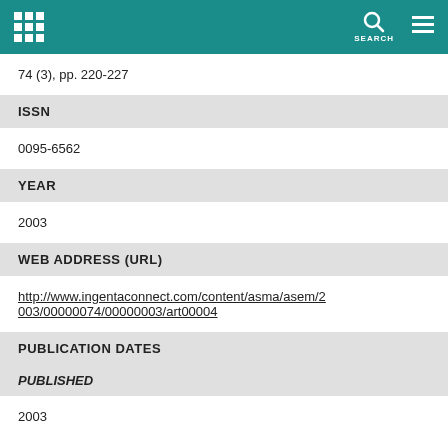SEARCH
74 (3), pp. 220-227
ISSN
0095-6562
YEAR
2003
WEB ADDRESS (URL)
http://www.ingentaconnect.com/content/asma/asem/2003/00000074/00000003/art00004
PUBLICATION DATES
PUBLISHED
2003